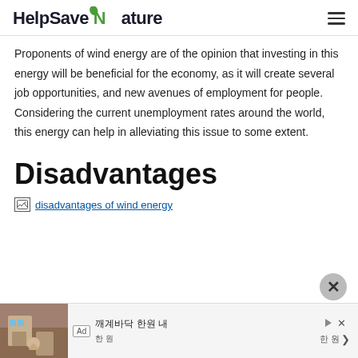HelpSaveNature
Proponents of wind energy are of the opinion that investing in this energy will be beneficial for the economy, as it will create several job opportunities, and new avenues of employment for people. Considering the current unemployment rates around the world, this energy can help in alleviating this issue to some extent.
Disadvantages
[Figure (photo): Broken image placeholder with link text 'disadvantages of wind energy']
[Figure (screenshot): Advertisement banner at the bottom of the page showing a property image with Korean text and navigation controls]